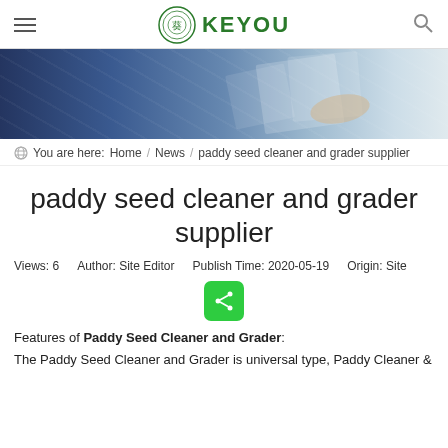KEYOU
[Figure (photo): Banner photo showing people working at a desk with documents and laptop, blue-toned lighting]
You are here: Home / News / paddy seed cleaner and grader supplier
paddy seed cleaner and grader supplier
Views: 6   Author: Site Editor   Publish Time: 2020-05-19   Origin: Site
[Figure (other): Green share button with share icon]
Features of Paddy Seed Cleaner and Grader:
The Paddy Seed Cleaner and Grader is universal type, Paddy Cleaner &